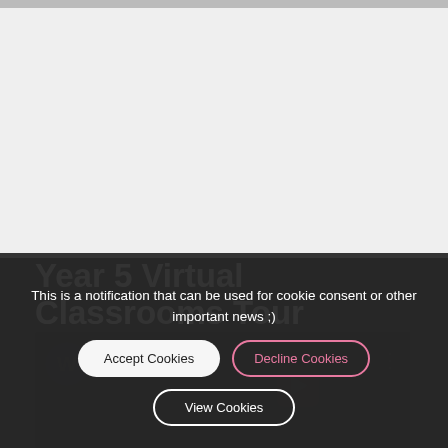[Figure (screenshot): Top navigation bar strip with partial page content visible above]
Year 5 Virtual Classrooms Tour
This is a notification that can be used for cookie consent or other important news ;)
Accept Cookies
Decline Cookies
View Cookies
[Figure (screenshot): Embedded YouTube video thumbnail with play button, avatar circle with W, and more options icon]